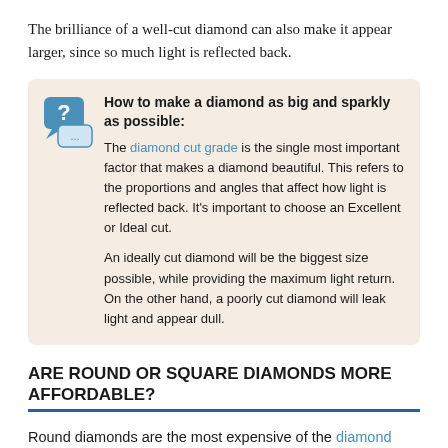The brilliance of a well-cut diamond can also make it appear larger, since so much light is reflected back.
How to make a diamond as big and sparkly as possible: The diamond cut grade is the single most important factor that makes a diamond beautiful. This refers to the proportions and angles that affect how light is reflected back. It's important to choose an Excellent or Ideal cut.

An ideally cut diamond will be the biggest size possible, while providing the maximum light return. On the other hand, a poorly cut diamond will leak light and appear dull.
ARE ROUND OR SQUARE DIAMONDS MORE AFFORDABLE?
Round diamonds are the most expensive of the diamond shapes. All other diamond shapes cost 20%-40% less than round